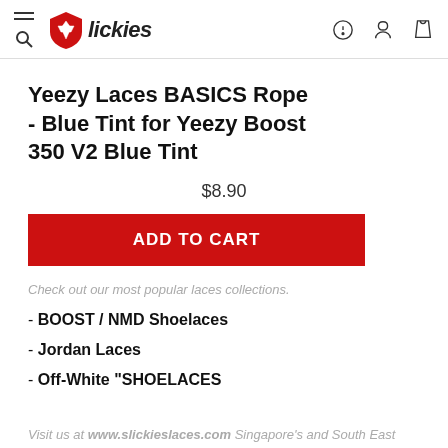Slickies — navigation header with menu, logo, help, account, and cart icons
Yeezy Laces BASICS Rope - Blue Tint for Yeezy Boost 350 V2 Blue Tint
$8.90
ADD TO CART
Check out our most popular laces collections.
- BOOST / NMD Shoelaces
- Jordan Laces
- Off-White "SHOELACES
Visit us at www.slickieslaces.com Singapore's and South East